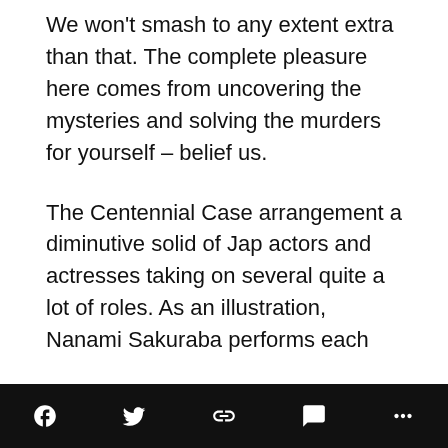We won't smash to any extent extra than that. The complete pleasure here comes from uncovering the mysteries and solving the murders for yourself – belief us.
The Centennial Case arrangement a diminutive solid of Jap actors and actresses taking on several quite a lot of roles. As an illustration, Nanami Sakuraba performs each
[social share icons: Facebook, Twitter, Link, Comment, More]